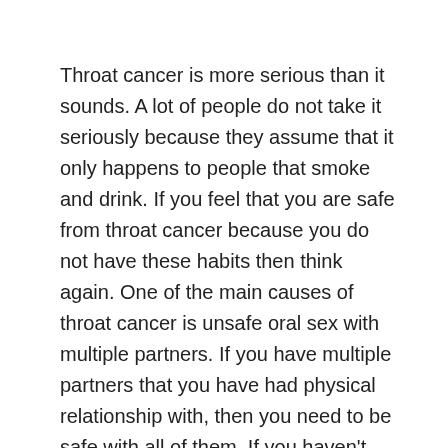Throat cancer is more serious than it sounds. A lot of people do not take it seriously because they assume that it only happens to people that smoke and drink. If you feel that you are safe from throat cancer because you do not have these habits then think again. One of the main causes of throat cancer is unsafe oral sex with multiple partners. If you have multiple partners that you have had physical relationship with, then you need to be safe with all of them. If you haven't then you need to get yourself tested for throat cancer immediately. Throat cancer is such that you will never know when it hits you. You will not even be able to recover